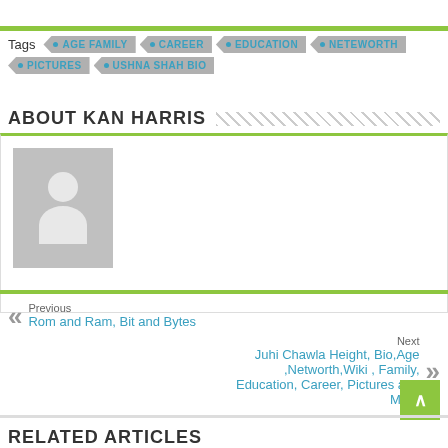Tags  AGE FAMILY  CAREER  EDUCATION  NETEWORTH  PICTURES  USHNA SHAH BIO
ABOUT KAN HARRIS
[Figure (photo): Default avatar placeholder image - grey square with white silhouette of a person]
Previous
Rom and Ram, Bit and Bytes
Next
Juhi Chawla Height, Bio,Age ,Networth,Wiki , Family, Education, Career, Pictures and More
RELATED ARTICLES